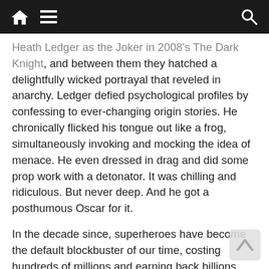Navigation bar with home, menu, and search icons
Heath Ledger as the Joker in 2008's The Dark Knight, and between them they hatched a delightfully wicked portrayal that reveled in anarchy. Ledger defied psychological profiles by confessing to ever-changing origin stories. He chronically flicked his tongue out like a frog, simultaneously invoking and mocking the idea of menace. He even dressed in drag and did some prop work with a detonator. It was chilling and ridiculous. But never deep. And he got a posthumous Oscar for it.

In the decade since, superheroes have become the default blockbuster of our time, costing hundreds of millions and earning back billions. With numbers like those, comic-book IP's need to